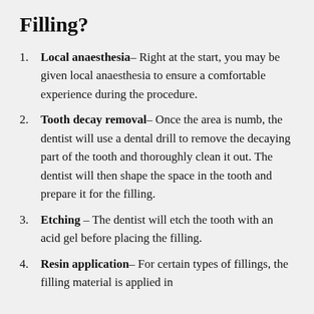Filling?
Local anaesthesia– Right at the start, you may be given local anaesthesia to ensure a comfortable experience during the procedure.
Tooth decay removal– Once the area is numb, the dentist will use a dental drill to remove the decaying part of the tooth and thoroughly clean it out. The dentist will then shape the space in the tooth and prepare it for the filling.
Etching – The dentist will etch the tooth with an acid gel before placing the filling.
Resin application– For certain types of fillings, the filling material is applied in